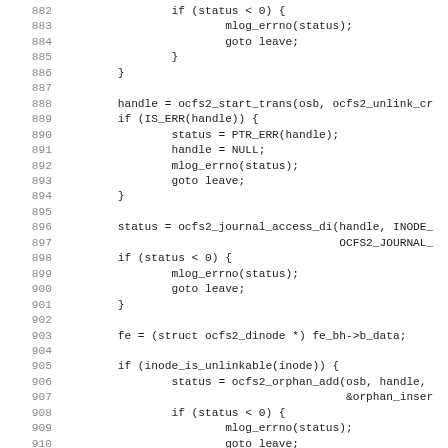Code listing lines 882-914, C source code for ocfs2 filesystem operations